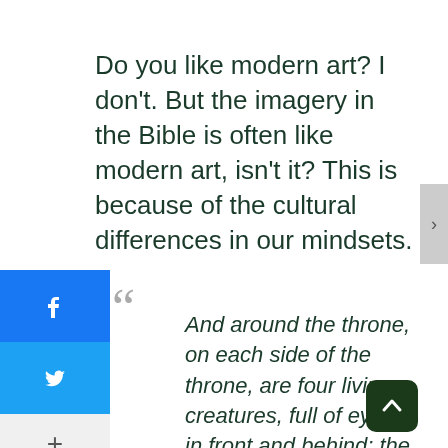Do you like modern art? I don't. But the imagery in the Bible is often like modern art, isn't it? This is because of the cultural differences in our mindsets.
And around the throne, on each side of the throne, are four living creatures, full of eyes in front and behind: the first...like a lion, the second...like an ox, the third...with the face of a man, and the fourth...like an eagle in flight...each...with six wings...full